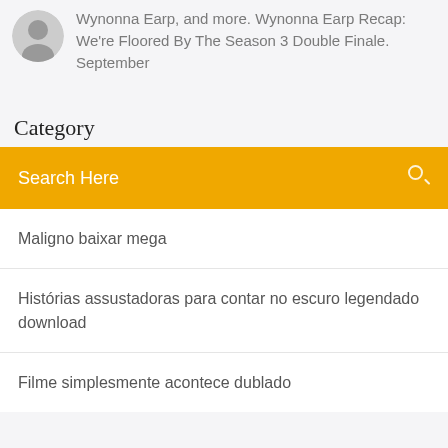Wynonna Earp, and more. Wynonna Earp Recap: We're Floored By The Season 3 Double Finale. September
Category
Search Here
Maligno baixar mega
Histórias assustadoras para contar no escuro legendado download
Filme simplesmente acontece dublado